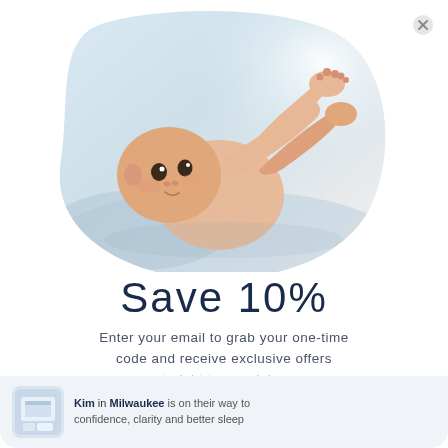[Figure (photo): Baby lying on back on a light blue surface, holding its feet up in the air, photographed from above at an angle. The image has a soft, bright style with a blob/organic shape crop.]
Save 10%
Enter your email to grab your one-time code and receive exclusive offers straight to your inbox.
Kim in Milwaukee is on their way to confidence, clarity and better sleep